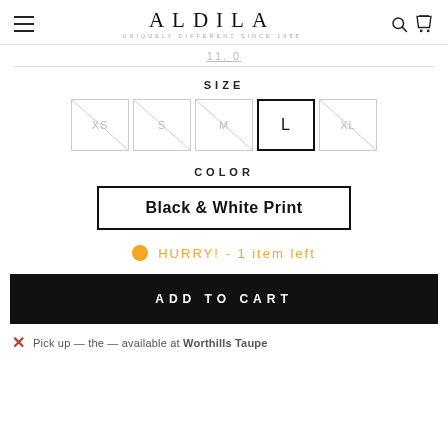ALDILA — UNIQUELY DIFFERENT SINCE 1988
11. 0
SIZE
XS  S  M  L  XL — Size selector buttons; L is selected
COLOR
Black & White Print
HURRY! - 1 item left
ADD TO CART
Pick up — the — available at Worthills Taupe